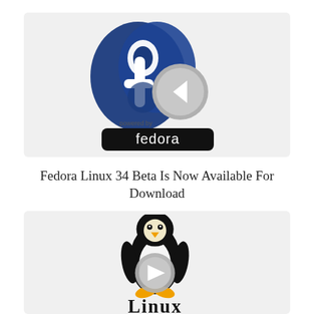[Figure (logo): Fedora Linux logo: blue infinity/fedora symbol with a gray circular play/back button overlay and a black rounded rectangle badge with 'fedora' text in white, and 'powered by' text above the badge]
Fedora Linux 34 Beta Is Now Available For Download
[Figure (logo): Linux Tux penguin logo with a gray circular play button overlay in front, and 'Linux' text in bold black below the penguin]